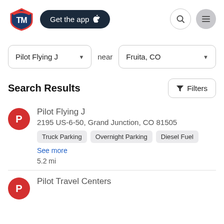[Figure (logo): TM (TruckMap) logo with red and blue shield and 'TM' letters]
Get the app
[Figure (other): Search icon circle button]
[Figure (other): Menu hamburger icon gray circle button]
Pilot Flying J
near
Fruita, CO
Search Results
Filters
Pilot Flying J
2195 US-6-50, Grand Junction, CO 81505
Truck Parking
Overnight Parking
Diesel Fuel
See more
5.2 mi
Pilot Travel Centers